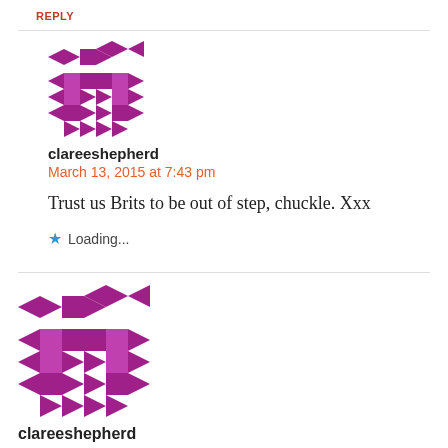REPLY
[Figure (illustration): Purple geometric avatar/identicon for user clareeshepherd (indented comment)]
clareeshepherd
March 13, 2015 at 7:43 pm
Trust us Brits to be out of step, chuckle. Xxx
Loading...
[Figure (illustration): Purple geometric avatar/identicon for user clareeshepherd (main comment)]
clareeshepherd
March 13, 2015 at 10:18 am
I don't think you'd have the same experience with our